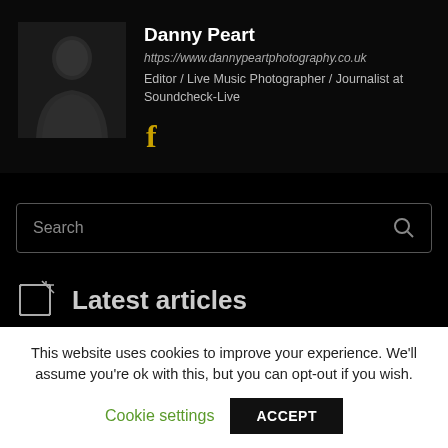[Figure (photo): Profile photo of Danny Peart, person in dark clothing against dark background]
Danny Peart
https://www.dannypeartphotography.co.uk
Editor / Live Music Photographer / Journalist at Soundcheck-Live
[Figure (logo): Facebook icon in gold/yellow color]
Search
Latest articles
This website uses cookies to improve your experience. We'll assume you're ok with this, but you can opt-out if you wish.
Cookie settings
ACCEPT